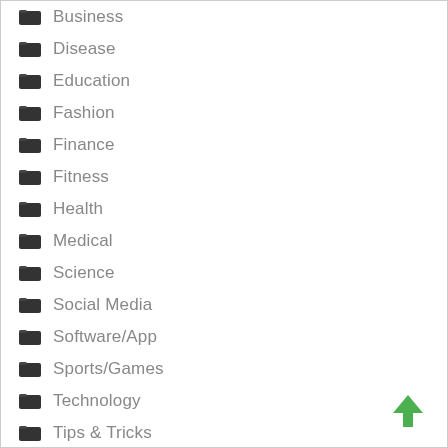Business
Disease
Education
Fashion
Finance
Fitness
Health
Medical
Science
Social Media
Software/App
Sports/Games
Technology
Tips & Tricks